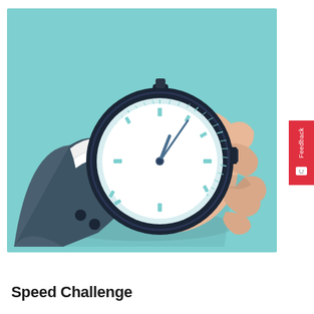[Figure (illustration): Flat vector illustration of a hand in a business suit sleeve holding a stopwatch/chronometer against a light blue background. The stopwatch has a dark navy blue casing with a white clock face showing tick marks and two hands pointing approximately to 1 o'clock.]
Speed Challenge